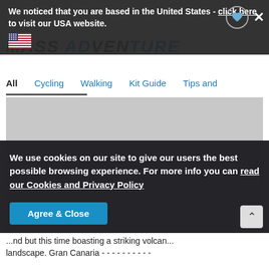We noticed that you are based in the United States - click here to visit our USA website.
[Figure (logo): Mass Adventure website logo with stylized text]
All  Cycling  Walking  Kit Guide  Tips and...
[Figure (photo): Large grey placeholder image area for article hero image]
We use cookies on our site to give our users the best possible browsing experience. For more info you can read our Cookies and Privacy Policy
Agree & Close
...nd but this time boasting a striking volcan... landscape. Gran Canaria - - - - - - - - - - - - - -